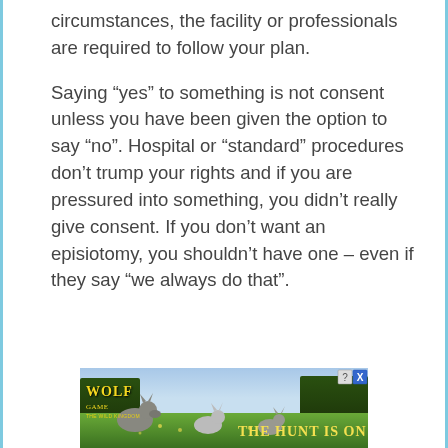circumstances, the facility or professionals are required to follow your plan.
Saying “yes” to something is not consent unless you have been given the option to say “no”. Hospital or “standard” procedures don’t trump your rights and if you are pressured into something, you didn’t really give consent. If you don’t want an episiotomy, you shouldn’t have one – even if they say “we always do that”.
[Figure (photo): Advertisement banner for 'Wolf Game: The Wild Kingdom' showing wolves in a grassy field with text 'THE HUNT IS ON!']